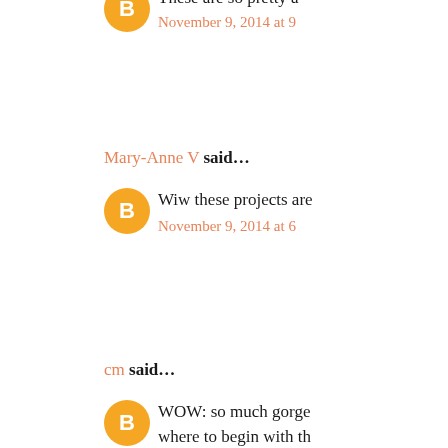These are so pretty a…
November 9, 2014 at 9…
Mary-Anne V said…
Wiw these projects are…
November 9, 2014 at 6…
cm said…
WOW: so much gorge… where to begin with th… incredibly beautiful an… watt smile that will ap… Your series of cards: se…